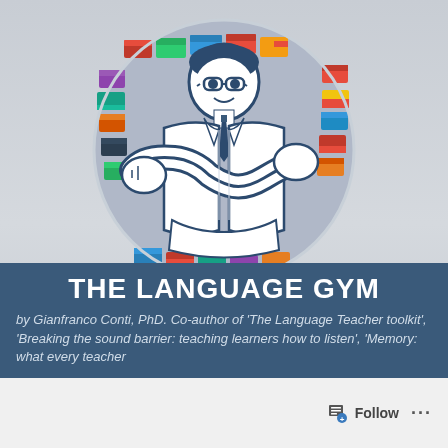[Figure (illustration): Language Gym logo: illustrated muscular man with crossed arms, wearing glasses and a tie, set against a circular background filled with international flags. The figure is drawn in a blue and white comic/cartoon style.]
THE LANGUAGE GYM
by Gianfranco Conti, PhD. Co-author of 'The Language Teacher toolkit', 'Breaking the sound barrier: teaching learners how to listen', 'Memory: what every teacher
Follow